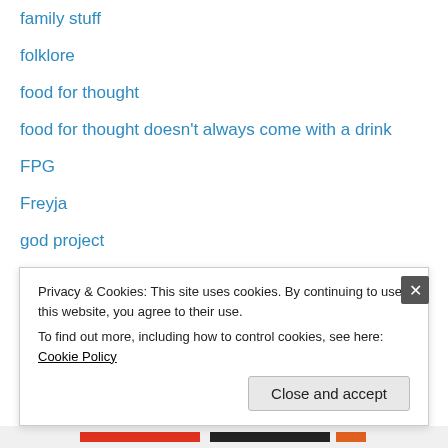family stuff
folklore
food for thought
food for thought doesn't always come with a drink
FPG
Freyja
god project
Goddess?
going forward
good reads/recommendations
grief
Hela
historical basis
Privacy & Cookies: This site uses cookies. By continuing to use this website, you agree to their use. To find out more, including how to control cookies, see here: Cookie Policy
Close and accept